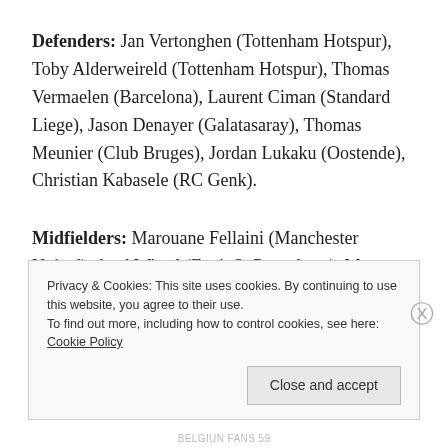Defenders: Jan Vertonghen (Tottenham Hotspur), Toby Alderweireld (Tottenham Hotspur), Thomas Vermaelen (Barcelona), Laurent Ciman (Standard Liege), Jason Denayer (Galatasaray), Thomas Meunier (Club Bruges), Jordan Lukaku (Oostende), Christian Kabasele (RC Genk).
Midfielders: Marouane Fellaini (Manchester United), Axel Witsel (Zenit St Petersburg), Moussa Dembele (Tottenham Hotspur), Radja Nainggolan (AS Roma),
Privacy & Cookies: This site uses cookies. By continuing to use this website, you agree to their use.
To find out more, including how to control cookies, see here: Cookie Policy
Close and accept